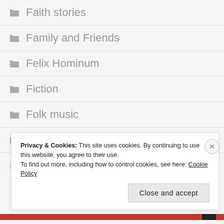Faith stories
Family and Friends
Felix Hominum
Fiction
Folk music
Folk Singles
Folk Songs and Recantations (partial, obscured)
Privacy & Cookies: This site uses cookies. By continuing to use this website, you agree to their use. To find out more, including how to control cookies, see here: Cookie Policy
Close and accept